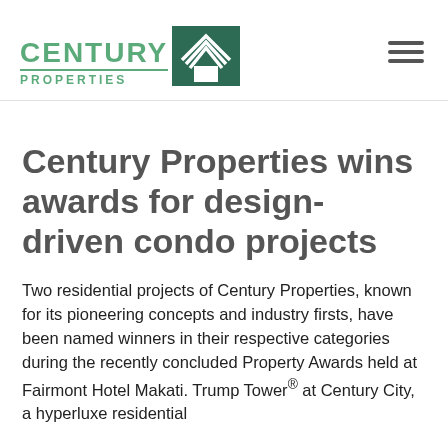[Figure (logo): Century Properties logo with green text and dark green house icon on right]
Century Properties wins awards for design-driven condo projects
Two residential projects of Century Properties, known for its pioneering concepts and industry firsts, have been named winners in their respective categories during the recently concluded Property Awards held at Fairmont Hotel Makati. Trump Tower® at Century City, a hyperluxe residential